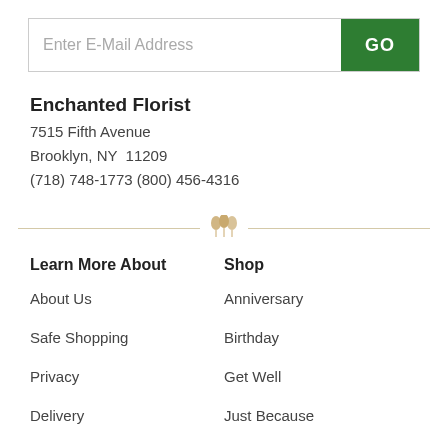Enter E-Mail Address  GO
Enchanted Florist
7515 Fifth Avenue
Brooklyn, NY  11209
(718) 748-1773 (800) 456-4316
[Figure (illustration): Decorative horizontal divider with golden floral/balloon icon in the center]
Learn More About
Shop
About Us
Anniversary
Safe Shopping
Birthday
Privacy
Get Well
Delivery
Just Because